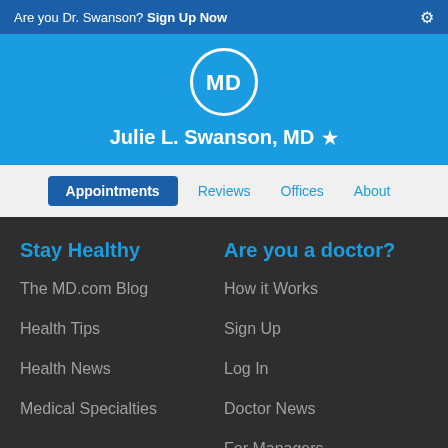Are you Dr. Swanson? Sign Up Now
[Figure (logo): MD.com circular logo with white text on blue background]
Julie L. Swanson, MD ★
Appointments | Reviews | Offices | About
Stay Healthy
The MD.com Blog
Health Tips
Health News
Medical Specialties
Are you a doctor?
How it Works
Sign Up
Log In
Doctor News
For Managers